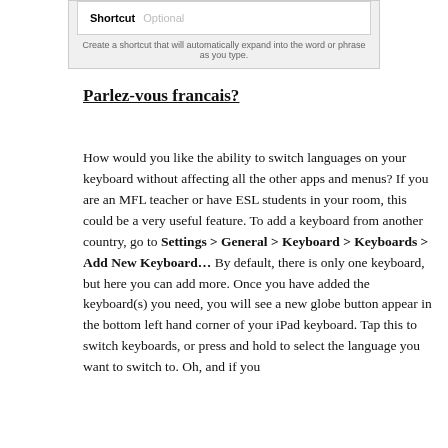[Figure (screenshot): Screenshot of a keyboard shortcut settings UI showing a 'Shortcut' field with 'Optional' placeholder text, and a hint text below saying 'Create a shortcut that will automatically expand into the word or phrase as you type.']
Parlez-vous francais?
How would you like the ability to switch languages on your keyboard without affecting all the other apps and menus? If you are an MFL teacher or have ESL students in your room, this could be a very useful feature. To add a keyboard from another country, go to Settings > General > Keyboard > Keyboards > Add New Keyboard… By default, there is only one keyboard, but here you can add more. Once you have added the keyboard(s) you need, you will see a new globe button appear in the bottom left hand corner of your iPad keyboard. Tap this to switch keyboards, or press and hold to select the language you want to switch to. Oh, and if you